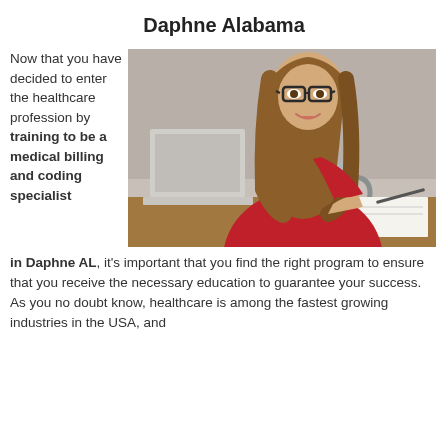Daphne Alabama
Now that you have decided to enter the healthcare profession by training to be a medical billing and coding specialist in Daphne AL, it's important that you find the right program to ensure that you receive the necessary education to guarantee your success. As you no doubt know, healthcare is among the fastest growing industries in the USA, and
[Figure (photo): A woman with long brown hair and glasses wearing a red blazer, sitting at a desk working on a laptop and holding a grey coffee mug, smiling]